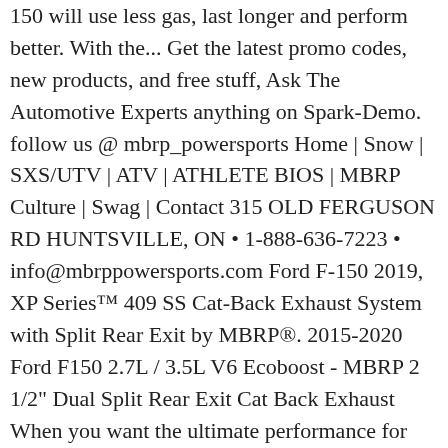150 will use less gas, last longer and perform better. With the... Get the latest promo codes, new products, and free stuff, Ask The Automotive Experts anything on Spark-Demo. follow us @ mbrp_powersports Home | Snow | SXS/UTV | ATV | ATHLETE BIOS | MBRP Culture | Swag | Contact 315 OLD FERGUSON RD HUNTSVILLE, ON • 1-888-636-7223 • info@mbrppowersports.com Ford F-150 2019, XP Series™ 409 SS Cat-Back Exhaust System with Split Rear Exit by MBRP®. 2015-2020 Ford F150 2.7L / 3.5L V6 Ecoboost - MBRP 2 1/2" Dual Split Rear Exit Cat Back Exhaust When you want the ultimate performance for your truck, you should equip your ride with an MBRP exhaust system. Create your account and enjoy a new shopping experience. MBRP's cat-back and other exhaust … Find FORD F-150 5.4L/330 MBRP Performance Exhaust Exhaust Systems and get Free Shipping on Orders Over $99 at Summit Racing! These systems add power, an aggressive look, and of course, a mean sound. For your vehicle, there is no better stainless